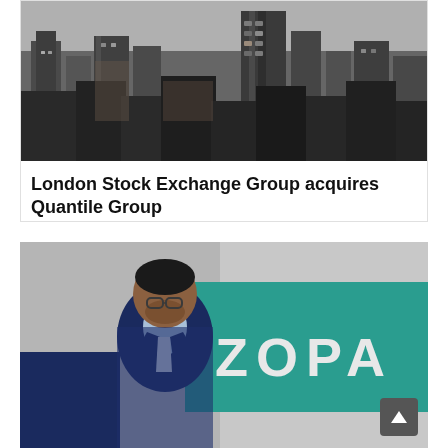[Figure (photo): City skyline / financial district buildings viewed from above, dark urban landscape]
London Stock Exchange Group acquires Quantile Group
[Figure (photo): Man in navy suit standing in front of a teal ZOPA branded sign in an office setting]